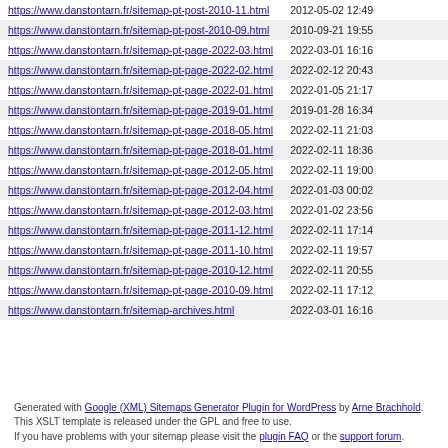| URL | Last Modified |
| --- | --- |
| https://www.danstontarn.fr/sitemap-pt-post-2010-11.html | 2012-05-02 12:49 |
| https://www.danstontarn.fr/sitemap-pt-post-2010-09.html | 2010-09-21 19:55 |
| https://www.danstontarn.fr/sitemap-pt-page-2022-03.html | 2022-03-01 16:16 |
| https://www.danstontarn.fr/sitemap-pt-page-2022-02.html | 2022-02-12 20:43 |
| https://www.danstontarn.fr/sitemap-pt-page-2022-01.html | 2022-01-05 21:17 |
| https://www.danstontarn.fr/sitemap-pt-page-2019-01.html | 2019-01-28 16:34 |
| https://www.danstontarn.fr/sitemap-pt-page-2018-05.html | 2022-02-11 21:03 |
| https://www.danstontarn.fr/sitemap-pt-page-2018-01.html | 2022-02-11 18:36 |
| https://www.danstontarn.fr/sitemap-pt-page-2012-05.html | 2022-02-11 19:00 |
| https://www.danstontarn.fr/sitemap-pt-page-2012-04.html | 2022-01-03 00:02 |
| https://www.danstontarn.fr/sitemap-pt-page-2012-03.html | 2022-01-02 23:56 |
| https://www.danstontarn.fr/sitemap-pt-page-2011-12.html | 2022-02-11 17:14 |
| https://www.danstontarn.fr/sitemap-pt-page-2011-10.html | 2022-02-11 19:57 |
| https://www.danstontarn.fr/sitemap-pt-page-2010-12.html | 2022-02-11 20:55 |
| https://www.danstontarn.fr/sitemap-pt-page-2010-09.html | 2022-02-11 17:12 |
| https://www.danstontarn.fr/sitemap-archives.html | 2022-03-01 16:16 |
Generated with Google (XML) Sitemaps Generator Plugin for WordPress by Arne Brachhold. This XSLT template is released under the GPL and free to use. If you have problems with your sitemap please visit the plugin FAQ or the support forum.